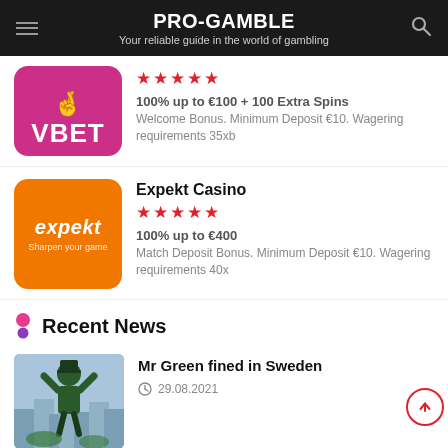PRO-GAMBLE — Your reliable guide in the world of gambling
[Figure (logo): VBET casino logo, pink/magenta background with white hand icon and VBET text]
100% up to €100 + 100 Extra Spins
Welcome Bonus. Minimum Deposit €10. Wagering requirements 35xb
[Figure (logo): Expekt casino logo, orange background with expekt text and tagline 'Sharpen your game']
Expekt Casino
100% up to €400
Match Deposit Bonus. Minimum Deposit €10. Wagering requirements 40x
Recent News
[Figure (photo): Photo of Mr Green character (man in green suit and top hat) over city skyline]
Mr Green fined in Sweden
29.08.2021